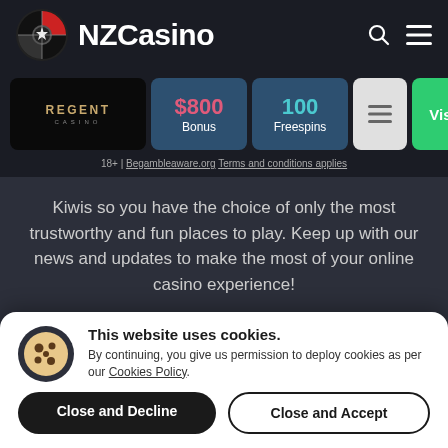NZCasino
[Figure (logo): NZCasino logo with circular badge icon and site name]
| Logo | Bonus | Freespins | Menu | Visit |
| --- | --- | --- | --- | --- |
| Regent Casino | $800 Bonus | 100 Freespins | ≡ | Visit |
18+ | Begambleaware.org Terms and conditions applies
Kiwis so you have the choice of only the most trustworthy and fun places to play. Keep up with our news and updates to make the most of your online casino experience!
Subscribe to our newsletter and get the latest casino offers...
This website uses cookies. By continuing, you give us permission to deploy cookies as per our Cookies Policy.